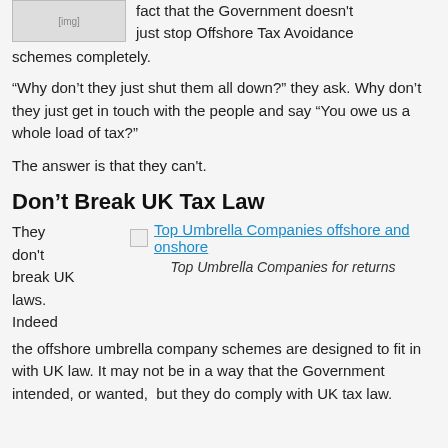[Figure (photo): Small image at top left, partially visible, appears to show a beach or outdoor scene]
fact that the Government doesn't just stop Offshore Tax Avoidance schemes completely.
“Why don’t they just shut them all down?” they ask. Why don’t they just get in touch with the people and say “You owe us a whole load of tax?”
The answer is that they can't.
Don’t Break UK Tax Law
They don’t break UK laws. Indeed the offshore umbrella company schemes are designed to fit in with UK law. It may not be in a way that the Government intended, or wanted,  but they do comply with UK tax law.
[Figure (photo): Top Umbrella Companies offshore and onshore - broken image link]
Top Umbrella Companies for returns